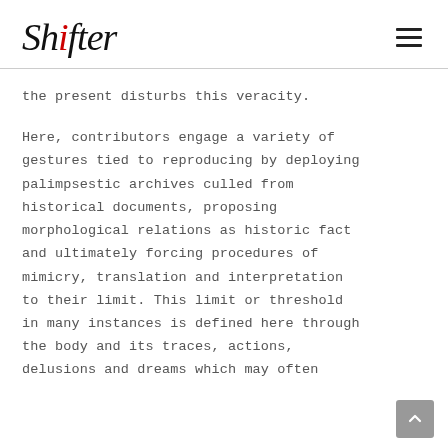Shifter
the present disturbs this veracity.
Here, contributors engage a variety of gestures tied to reproducing by deploying palimpsestic archives culled from historical documents, proposing morphological relations as historic fact and ultimately forcing procedures of mimicry, translation and interpretation to their limit. This limit or threshold in many instances is defined here through the body and its traces, actions, delusions and dreams which may often